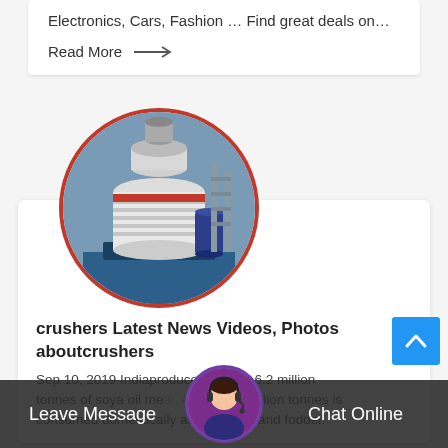Electronics, Cars, Fashion … Find great deals on…
Read More →
[Figure (photo): Circular cropped photo of an industrial cone crusher machine, white and red in color, on a blue base with industrial equipment in background]
crushers Latest News Videos, Photos aboutcrushers
Sep 10, 2019·Indiaproduces around 6.2 million tonnes of soya oil meal, of which 5 million tonnes is consumed domestically as both food and fodder.
[Figure (photo): Chat support avatar - woman with headset (customer service representative)]
Leave Message
Chat Online